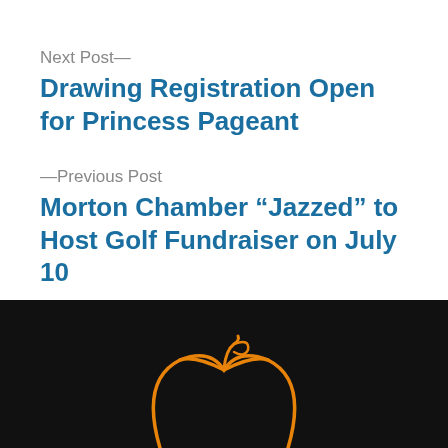Next Post—
Drawing Registration Open for Princess Pageant
—Previous Post
Morton Chamber “Jazzed” to Host Golf Fundraiser on July 10
[Figure (illustration): Partial orange pumpkin outline illustration on black background, visible at the bottom of the page.]